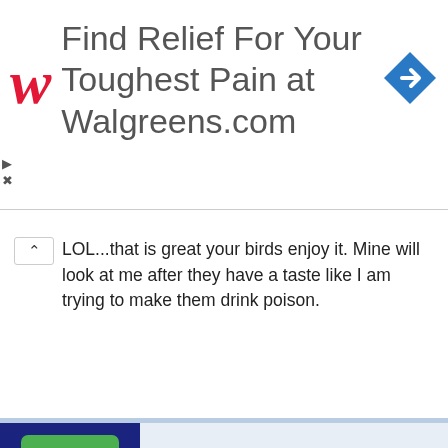[Figure (other): Walgreens advertisement banner: red cursive W logo on left, text 'Find Relief For Your Toughest Pain at Walgreens.com' in the center, blue diamond navigation arrow icon on right]
LOL...that is great your birds enjoy it. Mine will look at me after they have a taste like I am trying to make them drink poison.
[Figure (other): User profile card for 'Riley's mom' with green R avatar on dark blue background, subtitle: Rollerblading along the road]
2/20/10   #51
srtiels said: ↑ Wow! I really am surprised by your statement about tiels not being fond of juices. All of mine love juice and that is usually what I mix the baytril with. All of my friends' tiels love juice also. When I'm hand feeding babies, from lovebirds on up to the big guys, I also alternate water with Juicy Juice.